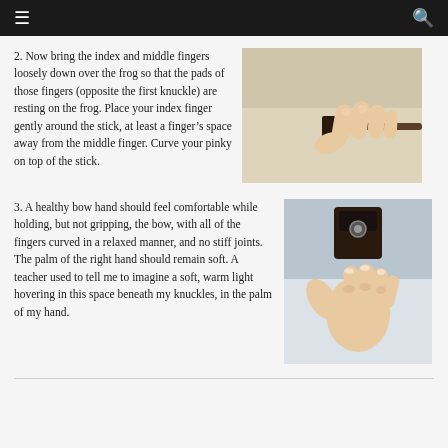≡  🔍
2. Now bring the index and middle fingers loosely down over the frog so that the pads of those fingers (opposite the first knuckle) are resting on the frog. Place your index finger gently around the stick, at least a finger's space away from the middle finger. Curve your pinky on top of the stick.
[Figure (photo): Close-up photograph of a hand holding a violin bow at the frog, showing finger placement on the stick.]
3. A healthy bow hand should feel comfortable while holding, but not gripping, the bow, with all of the fingers curved in a relaxed manner, and no stiff joints. The palm of the right hand should remain soft. A teacher used to tell me to imagine a soft, warm light hovering in this space beneath my knuckles, in the palm of my hand.
[Figure (photo): Close-up photograph of a hand holding the frog of a violin bow, demonstrating a relaxed grip with curved fingers.]